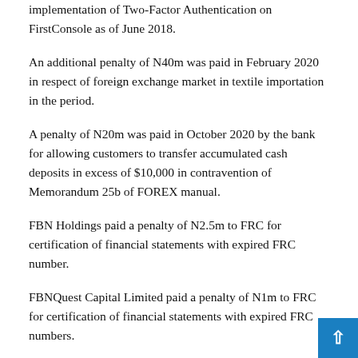implementation of Two-Factor Authentication on FirstConsole as of June 2018.
An additional penalty of N40m was paid in February 2020 in respect of foreign exchange market in textile importation in the period.
A penalty of N20m was paid in October 2020 by the bank for allowing customers to transfer accumulated cash deposits in excess of $10,000 in contravention of Memorandum 25b of FOREX manual.
FBN Holdings paid a penalty of N2.5m to FRC for certification of financial statements with expired FRC number.
FBNQuest Capital Limited paid a penalty of N1m to FRC for certification of financial statements with expired FRC numbers.